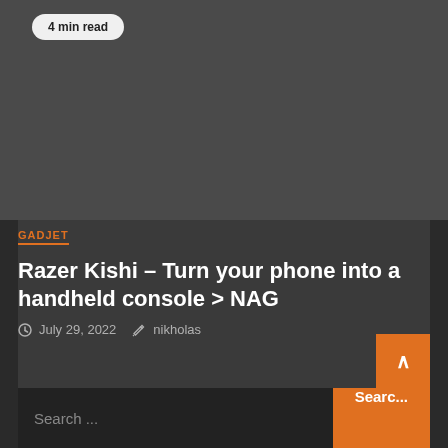[Figure (photo): Dark gray image placeholder area at the top of a webpage article card]
4 min read
GADJET
Razer Kishi – Turn your phone into a handheld console > NAG
July 29, 2022  nikholas
Search ...
Search...